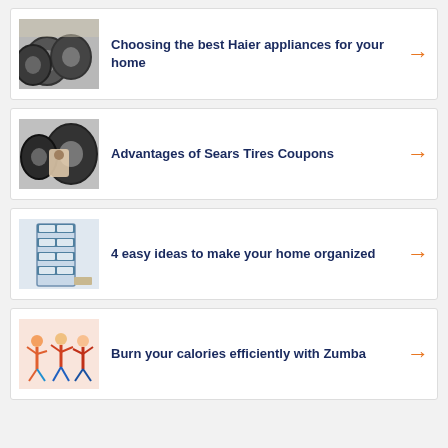Choosing the best Haier appliances for your home
Advantages of Sears Tires Coupons
4 easy ideas to make your home organized
Burn your calories efficiently with Zumba